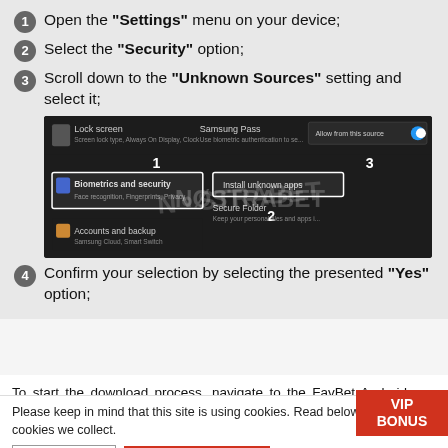1 Open the "Settings" menu on your device;
2 Select the "Security" option;
3 Scroll down to the "Unknown Sources" setting and select it;
[Figure (screenshot): Android device security settings screen showing steps: 1 Biometrics and security, 2 Install unknown apps / Secure Folder, 3 Allow from this source toggle (enabled). NOSTRABET watermark visible.]
4 Confirm your selection by selecting the presented "Yes" option;
To start the download process, navigate to the FavBet Android app download page, then select the large download button. The APK installation file will then automatically download and upon completion, you need to
Please keep in mind that this site is using cookies. Read below the types of cookies we collect.
Preferences | Accept all cookies